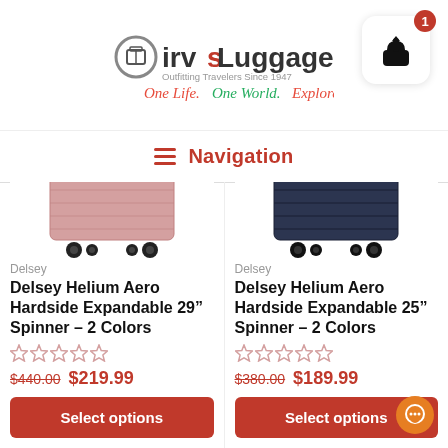[Figure (logo): Irv's Luggage logo with suitcase icon, tagline 'Outfitting Travelers Since 1947', and cursive tagline 'One Life. One World. Explore It.']
[Figure (other): Shopping cart icon button with badge showing count 1]
Navigation
[Figure (photo): Bottom portion of rose/pink hardside Delsey spinner suitcase]
Delsey
Delsey Helium Aero Hardside Expandable 29" Spinner – 2 Colors
$440.00 $219.99
Select options
[Figure (photo): Bottom portion of dark navy/black hardside Delsey spinner suitcase]
Delsey
Delsey Helium Aero Hardside Expandable 25" Spinner – 2 Colors
$380.00 $189.99
Select options